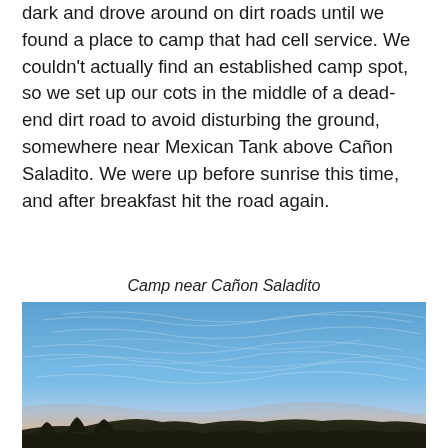dark and drove around on dirt roads until we found a place to camp that had cell service. We couldn't actually find an established camp spot, so we set up our cots in the middle of a dead-end dirt road to avoid disturbing the ground, somewhere near Mexican Tank above Cañon Saladito. We were up before sunrise this time, and after breakfast hit the road again.
Camp near Cañon Saladito
[Figure (photo): Outdoor sunrise or early morning landscape photograph showing a wide blue sky with wispy clouds, a warm pinkish-orange horizon, and dark silhouetted vegetation or terrain at the bottom.]